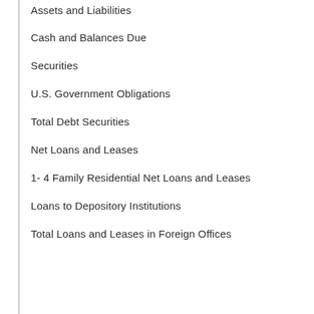Assets and Liabilities
Cash and Balances Due
Securities
U.S. Government Obligations
Total Debt Securities
Net Loans and Leases
1- 4 Family Residential Net Loans and Leases
Loans to Depository Institutions
Total Loans and Leases in Foreign Offices